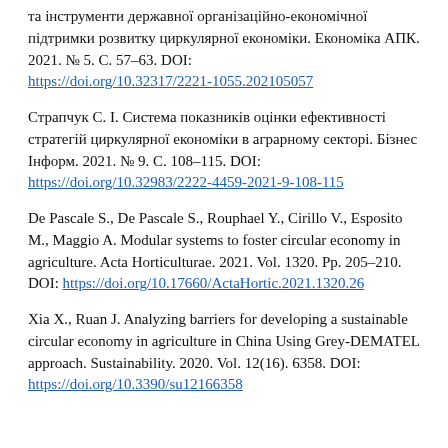та інструменти державної організаційно-економічної підтримки розвитку циркулярної економіки. Економіка АПК. 2021. № 5. С. 57–63. DOI: https://doi.org/10.32317/2221-1055.202105057
Страпчук С. І. Система показників оцінки ефективності стратегій циркулярної економіки в аграрному секторі. Бізнес Інформ. 2021. № 9. С. 108–115. DOI: https://doi.org/10.32983/2222-4459-2021-9-108-115
De Pascale S., De Pascale S., Rouphael Y., Cirillo V., Esposito M., Maggio A. Modular systems to foster circular economy in agriculture. Acta Horticulturae. 2021. Vol. 1320. Pp. 205–210. DOI: https://doi.org/10.17660/ActaHortic.2021.1320.26
Xia X., Ruan J. Analyzing barriers for developing a sustainable circular economy in agriculture in China Using Grey-DEMATEL approach. Sustainability. 2020. Vol. 12(16). 6358. DOI: https://doi.org/10.3390/su12166358